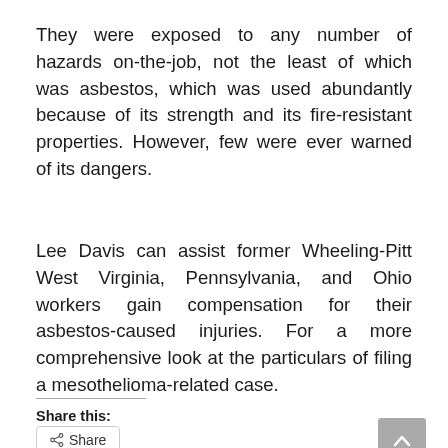They were exposed to any number of hazards on-the-job, not the least of which was asbestos, which was used abundantly because of its strength and its fire-resistant properties. However, few were ever warned of its dangers.
Lee Davis can assist former Wheeling-Pitt West Virginia, Pennsylvania, and Ohio workers gain compensation for their asbestos-caused injuries. For a more comprehensive look at the particulars of filing a mesothelioma-related case.
Share this: